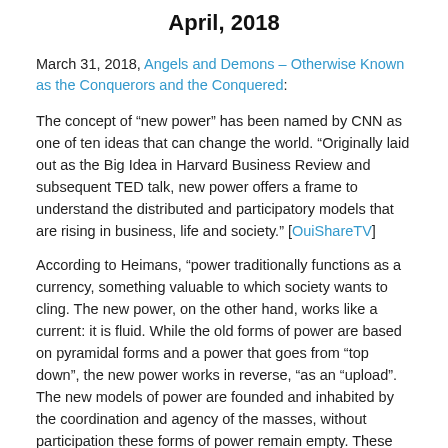April, 2018
March 31, 2018, Angels and Demons – Otherwise Known as the Conquerors and the Conquered:
The concept of “new power” has been named by CNN as one of ten ideas that can change the world. “Originally laid out as the Big Idea in Harvard Business Review and subsequent TED talk, new power offers a frame to understand the distributed and participatory models that are rising in business, life and society.” [OuiShareTV]
According to Heimans, “power traditionally functions as a currency, something valuable to which society wants to cling. The new power, on the other hand, works like a current: it is fluid. While the old forms of power are based on pyramidal forms and a power that goes from “top down”, the new power works in reverse, “as an “upload”. The new models of power are founded and inhabited by the coordination and agency of the masses, without participation these forms of power remain empty. These new models are collaborative platforms that need the active collaboration of their participants to survive.” [Source]
What the “new power” model actually represents is capitalism in its most efficient form. Citizens, en masse, are utilized, organized and